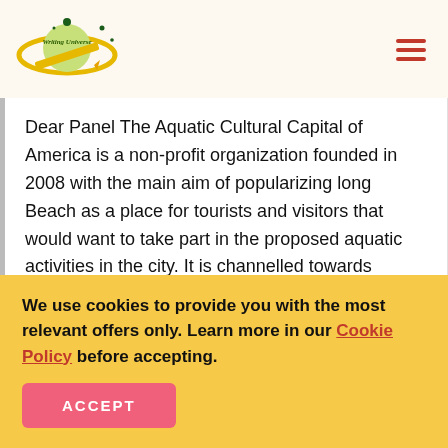[Figure (logo): Writing Universe logo — planet with pencil and text]
Dear Panel The Aquatic Cultural Capital of America is a non-profit organization founded in 2008 with the main aim of popularizing long Beach as a place for tourists and visitors that would want to take part in the proposed aquatic activities in the city. It is channelled towards support and...
CULTURAL CAPITAL
NON-PROFIT ORGANIZATION    WATER
We use cookies to provide you with the most relevant offers only. Learn more in our Cookie Policy before accepting.
ACCEPT